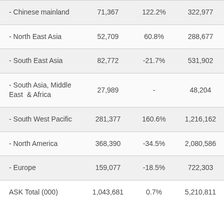| - Chinese mainland | 71,367 | 122.2% | 322,977 |
| - North East Asia | 52,709 | 60.8% | 288,677 |
| - South East Asia | 82,772 | -21.7% | 531,902 |
| - South Asia, Middle East  & Africa | 27,989 | - | 48,204 |
| - South West Pacific | 281,377 | 160.6% | 1,216,162 |
| - North America | 368,390 | -34.5% | 2,080,586 |
| - Europe | 159,077 | -18.5% | 722,303 |
| ASK Total (000) | 1,043,681 | 0.7% | 5,210,811 |